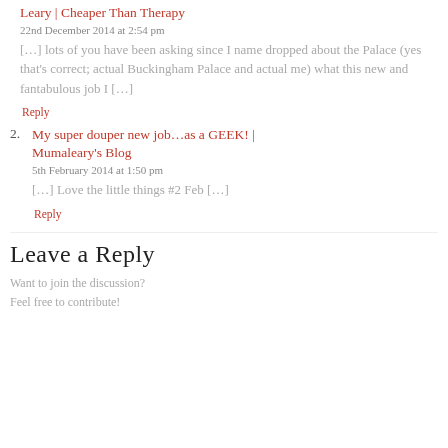Leary | Cheaper Than Therapy
22nd December 2014 at 2:54 pm
[…] lots of you have been asking since I name dropped about the Palace (yes that's correct; actual Buckingham Palace and actual me) what this new and fantabulous job I […]
Reply
My super douper new job…as a GEEK! | Mumaleary's Blog
5th February 2014 at 1:50 pm
[…] Love the little things #2 Feb […]
Reply
Leave a Reply
Want to join the discussion?
Feel free to contribute!